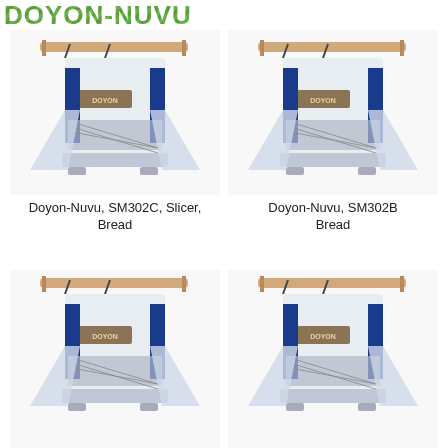DOYON-NUVU
[Figure (photo): Doyon-Nuvu bread slicer machine SM302C, white and blue industrial bread slicing machine with blades visible]
Doyon-Nuvu, SM302C, Slicer, Bread
[Figure (photo): Doyon-Nuvu bread slicer machine SM302B, white and blue industrial bread slicing machine with blades visible]
Doyon-Nuvu, SM302B Bread
[Figure (photo): Doyon-Nuvu bread slicer machine, white and blue industrial bread slicing machine, bottom-left product]
[Figure (photo): Doyon-Nuvu bread slicer machine, white and blue industrial bread slicing machine, bottom-right product]